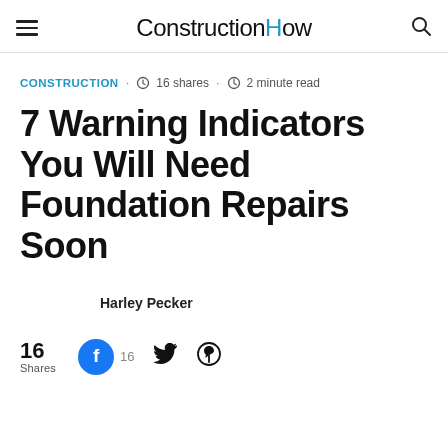ConstructionHow
CONSTRUCTION · 16 shares · 2 minute read
7 Warning Indicators You Will Need Foundation Repairs Soon
Harley Pecker
16 Shares · Facebook 16 · Twitter · Pinterest